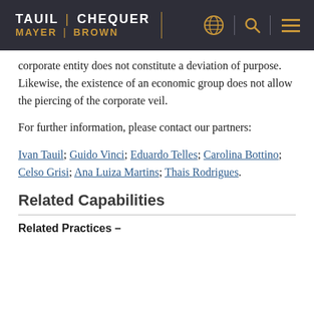TAUIL | CHEQUER MAYER | BROWN
corporate entity does not constitute a deviation of purpose. Likewise, the existence of an economic group does not allow the piercing of the corporate veil.
For further information, please contact our partners:
Ivan Tauil; Guido Vinci; Eduardo Telles; Carolina Bottino; Celso Grisi; Ana Luiza Martins; Thais Rodrigues.
Related Capabilities
Related Practices –